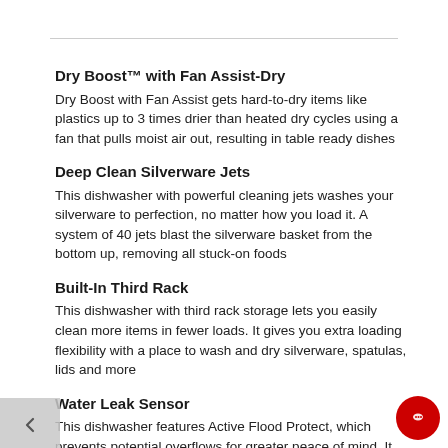Dry Boost™ with Fan Assist-Dry
Dry Boost with Fan Assist gets hard-to-dry items like plastics up to 3 times drier than heated dry cycles using a fan that pulls moist air out, resulting in table ready dishes
Deep Clean Silverware Jets
This dishwasher with powerful cleaning jets washes your silverware to perfection, no matter how you load it. A system of 40 jets blast the silverware basket from the bottom up, removing all stuck-on foods
Built-In Third Rack
This dishwasher with third rack storage lets you easily clean more items in fewer loads. It gives you extra loading flexibility with a place to wash and dry silverware, spatulas, lids and more
Water Leak Sensor
This dishwasher features Active Flood Protect, which prevents potential overflows for greater peace of mind. It